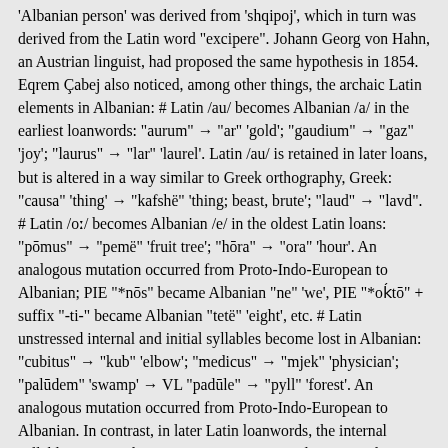'Albanian person' was derived from 'shqipoj', which in turn was derived from the Latin word "excipere". Johann Georg von Hahn, an Austrian linguist, had proposed the same hypothesis in 1854. Eqrem Çabej also noticed, among other things, the archaic Latin elements in Albanian: # Latin /au/ becomes Albanian /a/ in the earliest loanwords: "aurum" → "ar" 'gold'; "gaudium" → "gaz" 'joy'; "laurus" → "lar" 'laurel'. Latin /au/ is retained in later loans, but is altered in a way similar to Greek orthography, Greek: "causa" 'thing' → "kafshë" 'thing; beast, brute'; "laud" → "lavd". # Latin /oː/ becomes Albanian /e/ in the oldest Latin loans: "pōmus" → "pemë" 'fruit tree'; "hōra" → "ora" 'hour'. An analogous mutation occurred from Proto-Indo-European to Albanian; PIE "*nōs" became Albanian "ne" 'we', PIE "*oḱtō" + suffix "-ti-" became Albanian "tetë" 'eight', etc. # Latin unstressed internal and initial syllables become lost in Albanian: "cubitus" → "kub" 'elbow'; "medicus" → "mjek" 'physician'; "palūdem" 'swamp' → VL "padūle" → "pyll" 'forest'. An analogous mutation occurred from Proto-Indo-European to Albanian. In contrast, in later Latin loanwords, the internal syllable is retained: "paganus" → "pagan"; "plaga" → "plagë" 'wound', etc. # Latin /tj/, /dj/, /kj/ palatalized to Albanian /s/, /z/, /c/: "vitium" → "ves" 'vice; worries'; "rationem" → "arësye" 'reason'; "raditus" → "rreze" 'ray; spoke';